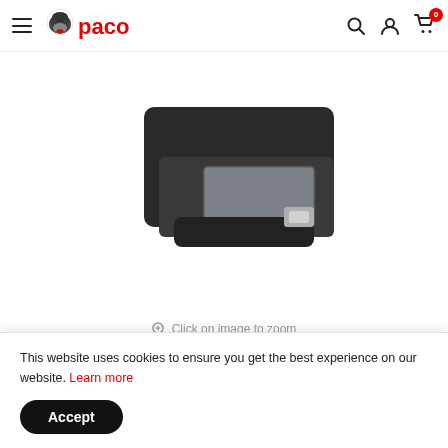[Figure (logo): Paco gorilla logo with red text 'paco' in the website header navigation bar]
[Figure (photo): Product photo showing a dark/black plastic device component (appears to be part of a machine or appliance) on white background, cropped, showing upper portion]
Click on image to zoom
[Figure (photo): Row of product thumbnail images: first thumbnail selected (red border) showing white/grey product, second thumbnail showing a cloud-like white product shape, third thumbnail showing a technical spec sheet with grid images, fourth thumbnail showing another spec sheet with product images]
This website uses cookies to ensure you get the best experience on our website. Learn more
Accept
Save 20%